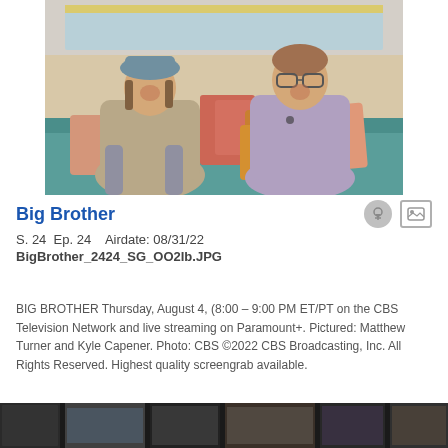[Figure (photo): Two young men laughing and sitting on a teal couch with colorful pillows. The man on the left wears a beige hoodie and bucket hat; the man on the right wears a light purple hoodie and glasses. Indoor reality TV show setting.]
Big Brother
S. 24  Ep. 24   Airdate: 08/31/22
BigBrother_2424_SG_OO2Ib.JPG
BIG BROTHER Thursday, August 4, (8:00 – 9:00 PM ET/PT on the CBS Television Network and live streaming on Paramount+. Pictured: Matthew Turner and Kyle Capener. Photo: CBS ©2022 CBS Broadcasting, Inc. All Rights Reserved. Highest quality screengrab available.
[Figure (photo): Partially visible bottom photo strip from a TV show scene.]